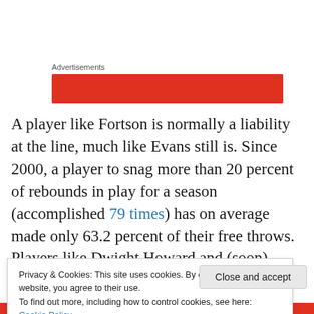[Figure (other): Advertisements label with a red banner advertisement below it]
A player like Fortson is normally a liability at the line, much like Evans still is. Since 2000, a player to snag more than 20 percent of rebounds in play for a season (accomplished 79 times) has on average made only 63.2 percent of their free throws. Players like Dwight Howard and (soon) Andre Drummond drag that percentage down but a few big men
Privacy & Cookies: This site uses cookies. By continuing to use this website, you agree to their use.
To find out more, including how to control cookies, see here: Cookie Policy
Close and accept